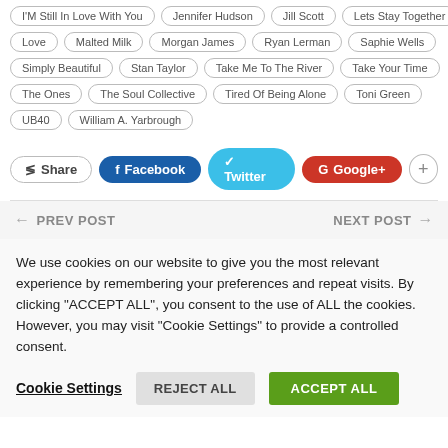I'M Still In Love With You, Jennifer Hudson, Jill Scott, Lets Stay Together, Love, Malted Milk, Morgan James, Ryan Lerman, Saphie Wells, Simply Beautiful, Stan Taylor, Take Me To The River, Take Your Time, The Ones, The Soul Collective, Tired Of Being Alone, Toni Green, UB40, William A. Yarbrough
Share | Facebook | Twitter | Google+ | +
← PREV POST   NEXT POST →
We use cookies on our website to give you the most relevant experience by remembering your preferences and repeat visits. By clicking "ACCEPT ALL", you consent to the use of ALL the cookies. However, you may visit "Cookie Settings" to provide a controlled consent.
Cookie Settings   REJECT ALL   ACCEPT ALL